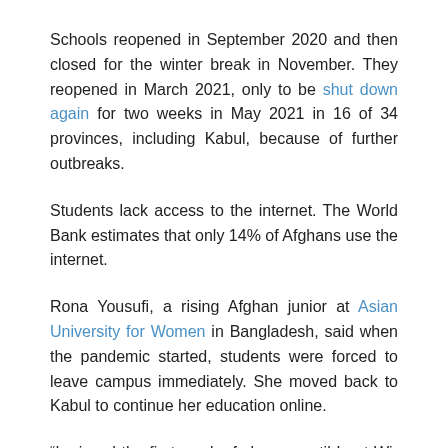Schools reopened in September 2020 and then closed for the winter break in November. They reopened in March 2021, only to be shut down again for two weeks in May 2021 in 16 of 34 provinces, including Kabul, because of further outbreaks.
Students lack access to the internet. The World Bank estimates that only 14% of Afghans use the internet.
Rona Yousufi, a rising Afghan junior at Asian University for Women in Bangladesh, said when the pandemic started, students were forced to leave campus immediately. She moved back to Kabul to continue her education online.
“I missed the first week of classes until I got Wi-Fi in my home, but the connection was really poor with consistent power outages. I missed most of my classes, and one hour of homework took me up to two to three hours to do because of the poor connection,” Yousufi said.